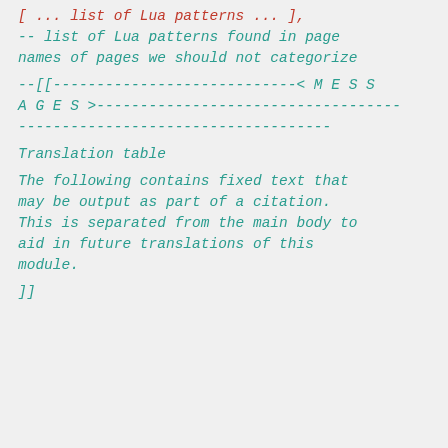[ ... list of Lua patterns ... ],
-- list of Lua patterns found in page names of pages we should not categorize
--[[----------------------------< M E S S A G E S >-----------------------------------]]
Translation table
The following contains fixed text that may be output as part of a citation. This is separated from the main body to aid in future translations of this module.
]]